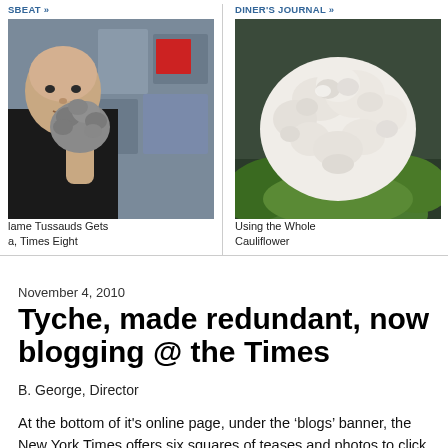SBEAT »
DINER'S JOURNAL »
[Figure (photo): Man holding a cauliflower-shaped sculpture, with framed pictures visible in background]
lame Tussauds Gets a, Times Eight
[Figure (photo): Close-up photograph of a head of cauliflower with green leaves]
Using the Whole Cauliflower
November 4, 2010
Tyche, made redundant, now blogging @ the Times
B. George, Director
At the bottom of it's online page, under the ‘blogs’ banner, the New York Times offers six squares of teases and photos to click your interest.  Today, for maybe twenty minutes, these two images were next to each other. I'm just